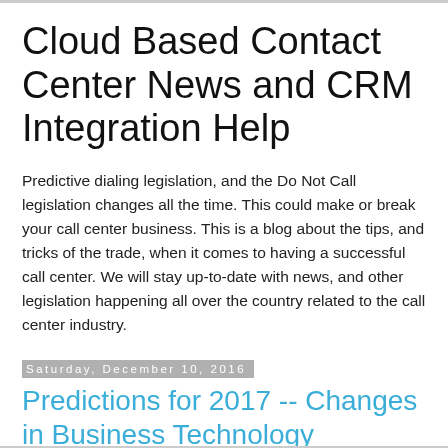Cloud Based Contact Center News and CRM Integration Help
Predictive dialing legislation, and the Do Not Call legislation changes all the time. This could make or break your call center business. This is a blog about the tips, and tricks of the trade, when it comes to having a successful call center. We will stay up-to-date with news, and other legislation happening all over the country related to the call center industry.
Saturday, December 10, 2016
Predictions for 2017 -- Changes in Business Technology